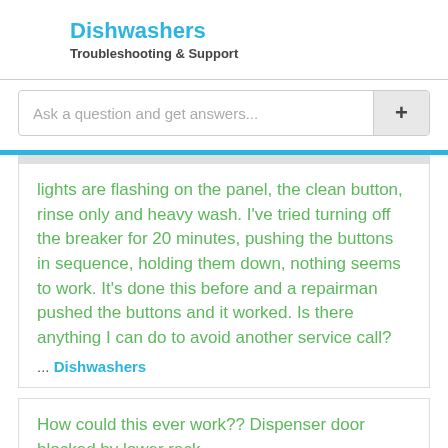Dishwashers
Troubleshooting & Support
Ask a question and get answers...
lights are flashing on the panel, the clean button, rinse only and heavy wash. I've tried turning off the breaker for 20 minutes, pushing the buttons in sequence, holding them down, nothing seems to work. It's done this before and a repairman pushed the buttons and it worked. Is there anything I can do to avoid another service call?
... Dishwashers
How could this ever work?? Dispenser door blocked by lower rack.
... Amana Dishwashers